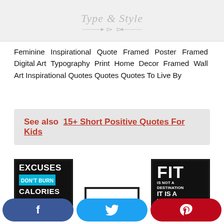[Figure (illustration): Decorative script heading 'Type & Style' with arrow divider lines on a light gray background]
Feminine Inspirational Quote Framed Poster Framed Digital Art Typography Print Home Decor Framed Wall Art Inspirational Quotes Quotes Quotes To Live By
See also  15+ Short Positive Quotes For Kids
[Figure (photo): Motivational poster with black background and white text reading EXCUSES DON'T BURN CALORIES]
[Figure (photo): Motivational poster with black background reading FIT IS NOT A DESTINATION IT IS A WAY OF]
[Figure (photo): Partial view of a framed poster in the center bottom]
[Figure (illustration): Social share buttons: Facebook (blue), Twitter (light blue), Pinterest (red)]